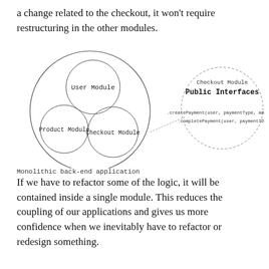a change related to the checkout, it won't require restructuring in the other modules.
[Figure (engineering-diagram): Diagram showing a monolithic back-end application with three nested circles (User Module, Product Module, Checkout Module) inside a large circle, and a dotted-border circle to the right showing Checkout Module Public Interfaces with methods .createPayment(user, paymentType, amount) and .completePayment(user, paymentID), connected by a line.]
Monolithic back-end application
If we have to refactor some of the logic, it will be contained inside a single module. This reduces the coupling of our applications and gives us more confidence when we inevitably have to refactor or redesign something.